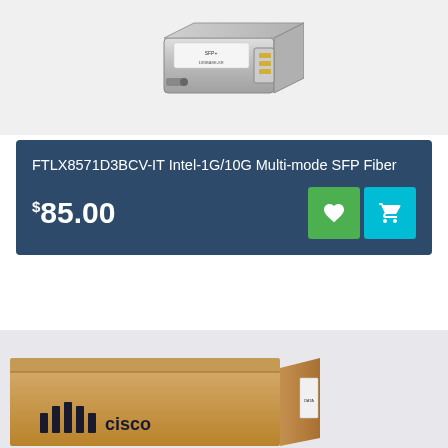[Figure (photo): SFP fiber module transceiver, metallic silver colored, partial view at top of page]
FTLX8571D3BCV-IT Intel-1G/10G Multi-mode SFP Fiber
$85.00
[Figure (photo): Cisco cardboard box product packaging, with Cisco logo visible, partial view at bottom of page. Green scroll-to-top button overlaid.]